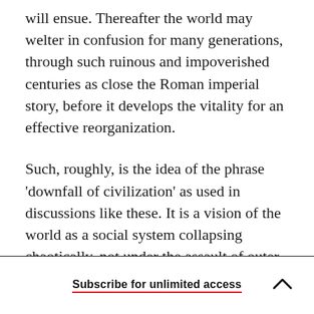will ensue. Thereafter the world may welter in confusion for many generations, through such ruinous and impoverished centuries as close the Roman imperial story, before it develops the vitality for an effective reorganization.
Such, roughly, is the idea of the phrase 'downfall of civilization' as used in discussions like these. It is a vision of the world as a social system collapsing chaotically, not under the assault of outer barbarians, but beneath the pressure of this inevitable hypertrophy of war.
Subscribe for unlimited access